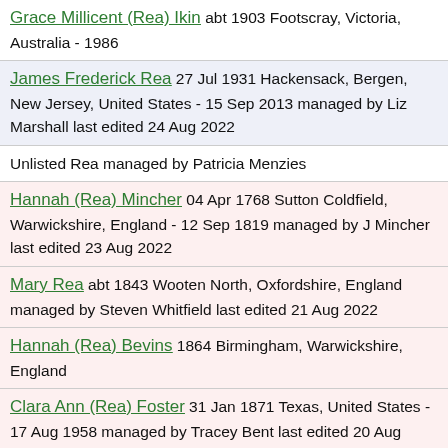Grace Millicent (Rea) Ikin abt 1903 Footscray, Victoria, Australia - 1986
James Frederick Rea 27 Jul 1931 Hackensack, Bergen, New Jersey, United States - 15 Sep 2013 managed by Liz Marshall last edited 24 Aug 2022
Unlisted Rea managed by Patricia Menzies
Hannah (Rea) Mincher 04 Apr 1768 Sutton Coldfield, Warwickshire, England - 12 Sep 1819 managed by J Mincher last edited 23 Aug 2022
Mary Rea abt 1843 Wooten North, Oxfordshire, England managed by Steven Whitfield last edited 21 Aug 2022
Hannah (Rea) Bevins 1864 Birmingham, Warwickshire, England
Clara Ann (Rea) Foster 31 Jan 1871 Texas, United States - 17 Aug 1958 managed by Tracey Bent last edited 20 Aug 2022